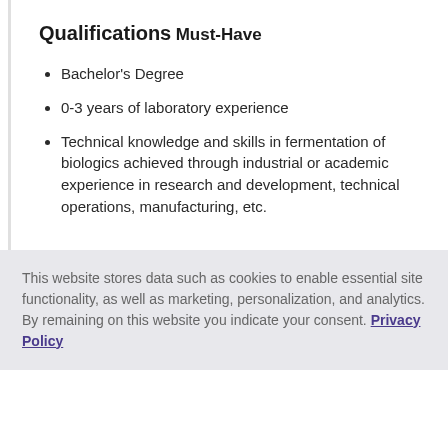Qualifications
Must-Have
Bachelor's Degree
0-3 years of laboratory experience
Technical knowledge and skills in fermentation of biologics achieved through industrial or academic experience in research and development, technical operations, manufacturing, etc.
This website stores data such as cookies to enable essential site functionality, as well as marketing, personalization, and analytics. By remaining on this website you indicate your consent. Privacy Policy